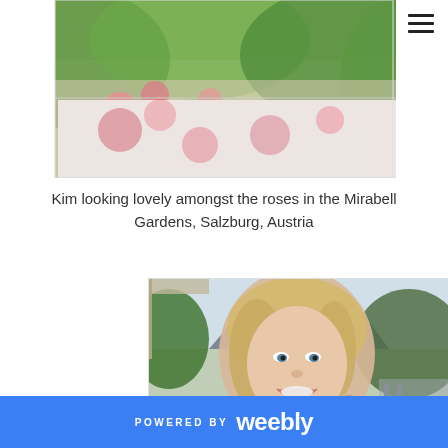[Figure (photo): Partial view of a woman in a floral dress among roses in a garden, cropped at the top of the page]
Kim looking lovely amongst the roses in the Mirabell Gardens, Salzburg, Austria
[Figure (photo): Woman with blonde hair smiling, holding a wine glass and a small food item, seated outdoors at a cafe with greenery and mountains in the background]
POWERED BY weebly